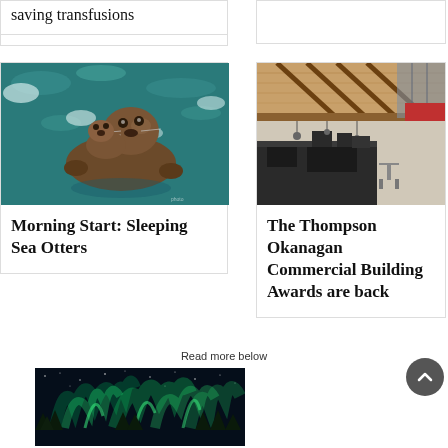saving transfusions
[Figure (photo): Sea otters floating in water, one resting on the other]
Morning Start: Sleeping Sea Otters
[Figure (photo): Interior of a commercial building with wooden trusses and modern finishes]
The Thompson Okanagan Commercial Building Awards are back
Read more below
[Figure (photo): Aurora borealis (northern lights) over a dark landscape with trees]